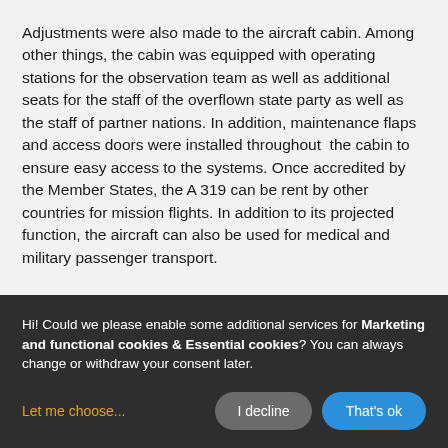Adjustments were also made to the aircraft cabin. Among other things, the cabin was equipped with operating stations for the observation team as well as additional seats for the staff of the overflown state party as well as the staff of partner nations. In addition, maintenance flaps and access doors were installed throughout  the cabin to ensure easy access to the systems. Once accredited by the Member States, the A 319 can be rent by other countries for mission flights. In addition to its projected function, the aircraft can also be used for medical and military passenger transport.
Hi! Could we please enable some additional services for Marketing and functional cookies & Essential cookies? You can always change or withdraw your consent later.